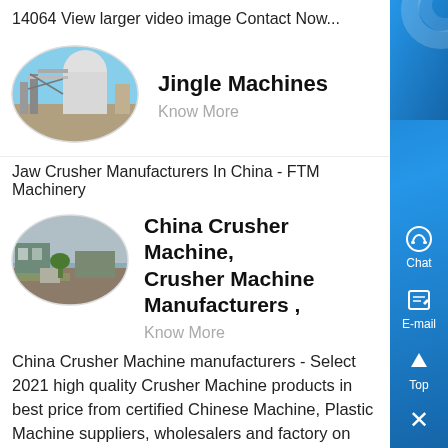14064 View larger video image Contact Now...
[Figure (photo): Oval photo of industrial machinery - Jingle Machines]
Jingle Machines
Know More
Jaw Crusher Manufacturers In China - FTM Machinery
[Figure (photo): Oval photo of china crusher machine building]
China Crusher Machine, Crusher Machine Manufacturers ,
Know More
China Crusher Machine manufacturers - Select 2021 high quality Crusher Machine products in best price from certified Chinese Machine, Plastic Machine suppliers, wholesalers and factory on Made-in-China